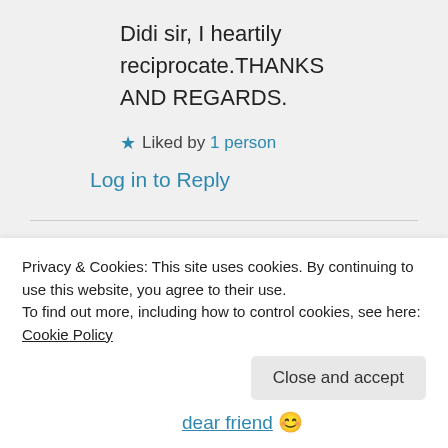Didi sir, I heartily reciprocate.THANKS AND REGARDS.
★ Liked by 1 person
Log in to Reply
Didi's Art Design on 29/12/2021 at 18:23
Privacy & Cookies: This site uses cookies. By continuing to use this website, you agree to their use. To find out more, including how to control cookies, see here: Cookie Policy
Close and accept
dear friend 😊